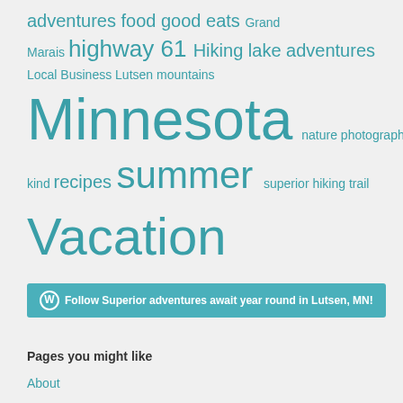[Figure (infographic): Tag cloud with words in varying sizes in teal/dark cyan color: adventures, food, good eats (medium), Grand Marais (small), highway 61 (large), Hiking (medium), lake adventures (medium), Local Business (small), Lutsen mountains (small), Minnesota (extra large), nature photography (medium), One-of-a-kind (small-medium), recipes (medium), summer (large), superior hiking trail (small-medium), Vacation (extra large)]
Follow Superior adventures await year round in Lutsen, MN!
Pages you might like
About